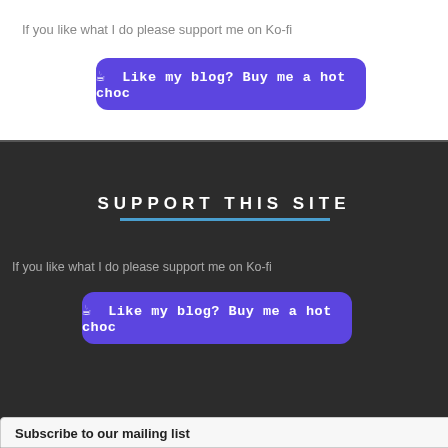If you like what I do please support me on Ko-fi
[Figure (screenshot): Purple Ko-fi button with cup emoji and text: Like my blog? Buy me a hot choc]
SUPPORT THIS SITE
If you like what I do please support me on Ko-fi
[Figure (screenshot): Purple Ko-fi button with cup emoji and text: Like my blog? Buy me a hot choc]
Subscribe to our mailing list